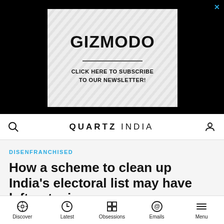[Figure (logo): Gizmodo advertisement banner with diagonal stripe background, bold GIZMODO text, horizontal divider, and 'CLICK HERE TO SUBSCRIBE TO OUR NEWSLETTER!' call to action]
QUARTZ INDIA
DISENFRANCHISED
How a scheme to clean up India's electoral list may have left out mi...
Discover  Latest  Obsessions  Emails  Menu